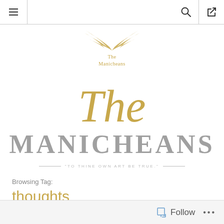Navigation bar with hamburger menu, search, and login icons
[Figure (logo): The Manicheans logo: golden feather wings above the text 'The Manicheans' in gold serif font]
The MANICHEANS
"TO THINE OWN ART BE TRUE."
Browsing Tag:
thoughts
Follow • • •